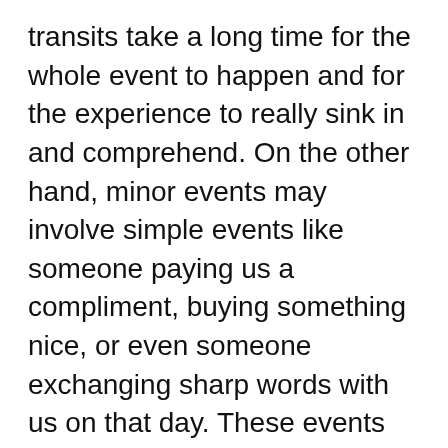transits take a long time for the whole event to happen and for the experience to really sink in and comprehend. On the other hand, minor events may involve simple events like someone paying us a compliment, buying something nice, or even someone exchanging sharp words with us on that day. These events are not life-changing, but they activate our natal chart on a daily basis.
We can see how your moods are affected by the transits daily. What days do you feel good? Perhaps you have an argument or fall out with someone on a particular day, and this indicated by a minor transit. If you want to follow your